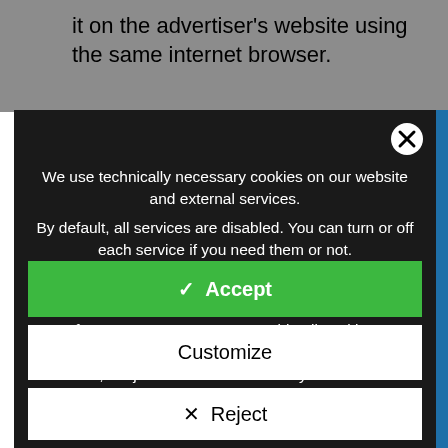it on the advertiser's website using the same internet browser.
We use technically necessary cookies on our website and external services.
By default, all services are disabled. You can turn or off each service if you need them or not.
For more informations please read our privacy policy.

If you press "Accept", you enable all cookies, "Customize" enables only selected and essential cookies, "Reject" does not enable any non-essential cookies.
✓ Accept
Customize
✕ Reject